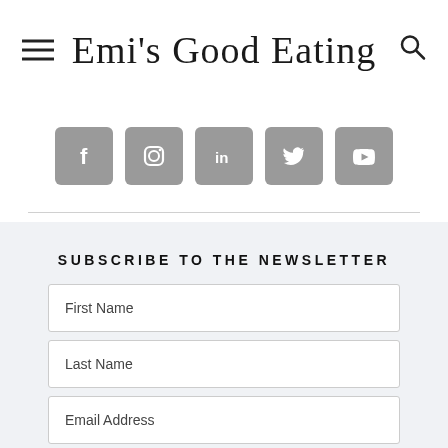Emi's Good Eating
[Figure (infographic): Social media icon buttons for Facebook, Instagram, LinkedIn, Twitter, and YouTube displayed as grey rounded squares]
SUBSCRIBE TO THE NEWSLETTER
First Name
Last Name
Email Address